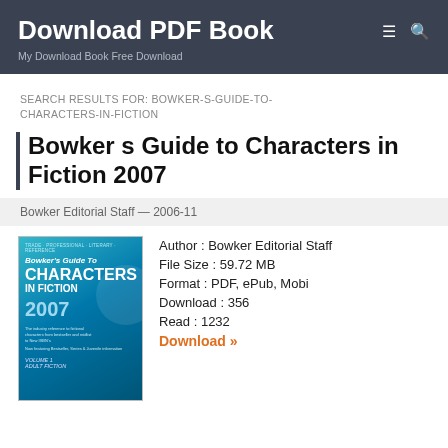Download PDF Book
My Download Book Free Download
SEARCH RESULTS FOR: BOWKER-S-GUIDE-TO-CHARACTERS-IN-FICTION
Bowker s Guide to Characters in Fiction 2007
Bowker Editorial Staff — 2006-11
[Figure (illustration): Book cover for Bowker's Guide to Characters in Fiction 2007, teal/blue background with title text]
Author : Bowker Editorial Staff
File Size : 59.72 MB
Format : PDF, ePub, Mobi
Download : 356
Read : 1232
Download »